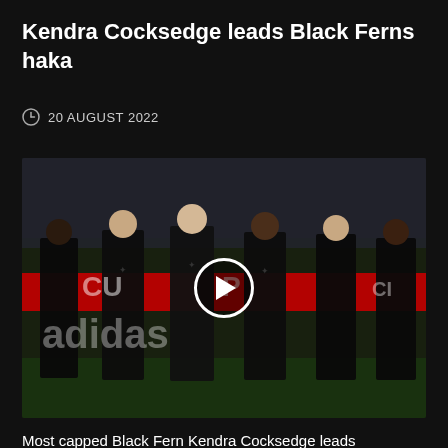Kendra Cocksedge leads Black Ferns haka
20 AUGUST 2022
[Figure (photo): Black Ferns women's rugby players in black jerseys performing the haka on a rugby field at night, with a play button overlay indicating a video.]
Most capped Black Fern Kendra Cocksedge leads